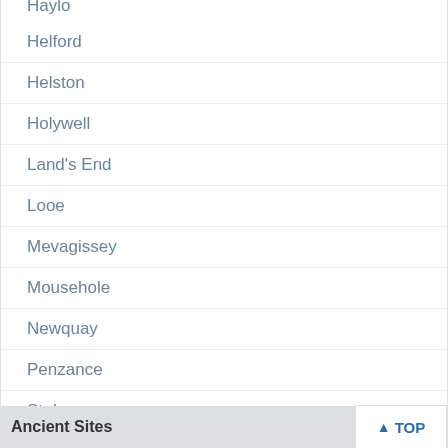Haylo (partial)
Helford
Helston
Holywell
Land's End
Looe
Mevagissey
Mousehole
Newquay
Penzance
St. Ives
Truro
Ancient Sites